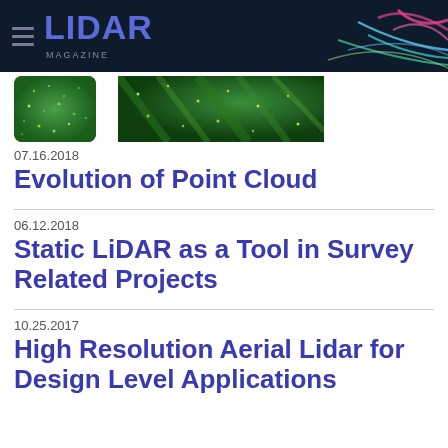LIDAR MAGAZINE
[Figure (photo): Two aerial LiDAR images — green vegetation point cloud thumbnails]
07.16.2018
Evolution of Point Cloud
06.12.2018
Static LiDAR as a Tool in Survey Related Projects
10.25.2017
High Resolution Aerial Lidar for Design Level Applications